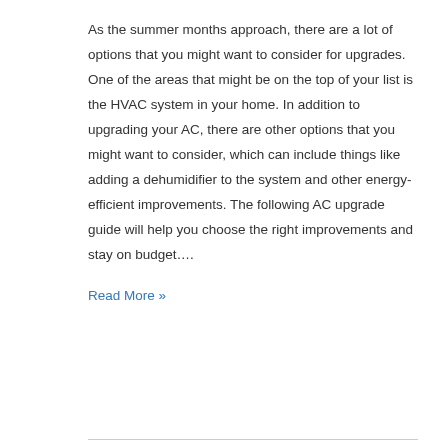As the summer months approach, there are a lot of options that you might want to consider for upgrades. One of the areas that might be on the top of your list is the HVAC system in your home. In addition to upgrading your AC, there are other options that you might want to consider, which can include things like adding a dehumidifier to the system and other energy-efficient improvements. The following AC upgrade guide will help you choose the right improvements and stay on budget….
Read More »